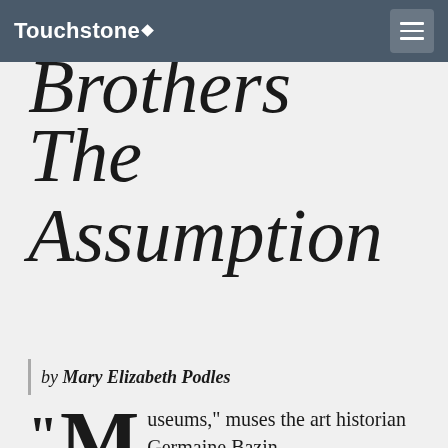Touchstone
Brothers The Assumption
by Mary Elizabeth Podles
"Museums," muses the art historian Germaine Bazin, "have distorted most people's view of painting—we tend to base our appreciation only on what we see there." The common perception, then,